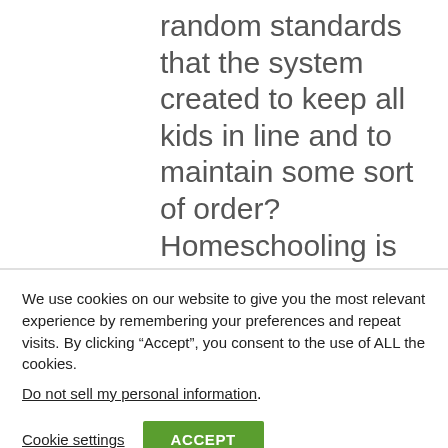random standards that the system created to keep all kids in line and to maintain some sort of order? Homeschooling is hardly ever a failure in terms of cultivating successful, intelligent, moral, ethical, and very decent human beings, which totally beats any
We use cookies on our website to give you the most relevant experience by remembering your preferences and repeat visits. By clicking “Accept”, you consent to the use of ALL the cookies.
Do not sell my personal information.
Cookie settings
ACCEPT